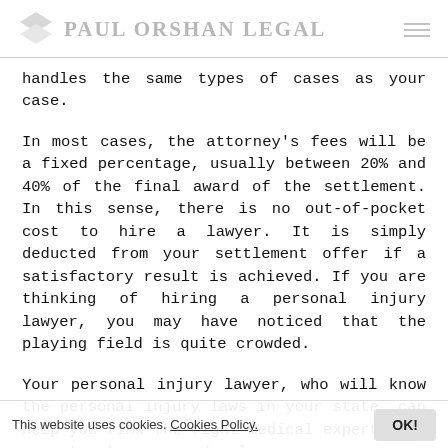PAUL ORSHAN LEGAL
handles the same types of cases as your case.
In most cases, the attorney's fees will be a fixed percentage, usually between 20% and 40% of the final award of the settlement. In this sense, there is no out-of-pocket cost to hire a lawyer. It is simply deducted from your settlement offer if a satisfactory result is achieved. If you are thinking of hiring a personal injury lawyer, you may have noticed that the playing field is quite crowded.
Your personal injury lawyer, who will know the personal injury laws in your state, can help you find the right medical experts who can treat you and also serve as good witnesses in your case, should the case go to trial. Private investigators are just
This website uses cookies. Cookies Policy.